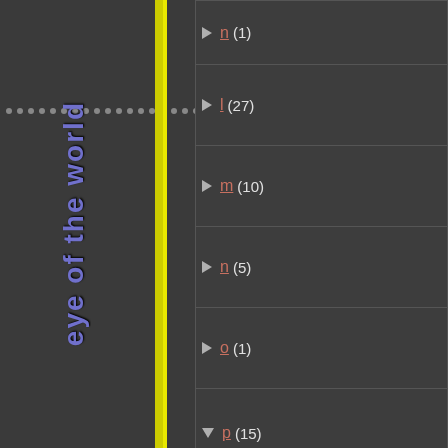[Figure (other): Vertical sidebar with decorative text 'eye of the world' in purple, yellow accent bars, and dotted patterns]
| Name | Rarity | Artist | Type |  |
| --- | --- | --- | --- | --- |
| n (1) |  |  |  |  |
| l (27) |  |  |  |  |
| m (10) |  |  |  |  |
| n (5) |  |  |  |  |
| o (1) |  |  |  |  |
| p (15) |  |  |  |  |
| Padan Fain | Fixed | Chris Arneson | Character | Dark C... |
| Patrol | Uncommon | Jim Houston | Troop | Childre... Light |
| Pedron Niall | Rare | Steve Snyder | Character | Childre... Light |